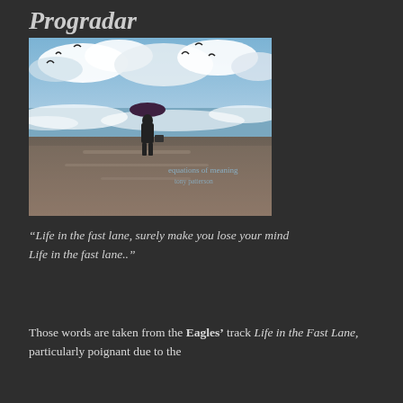Progradar
[Figure (photo): Album cover for 'equations of meaning' by tony patterson. A lone figure in a suit holding an umbrella and briefcase stands on a wet beach facing rough ocean waves, with birds flying overhead in a dramatic cloudy sky. Text on the image reads 'equations of meaning' and 'tony patterson'.]
“Life in the fast lane, surely make you lose your mind Life in the fast lane..”
Those words are taken from the Eagles’ track Life in the Fast Lane, particularly poignant due to the